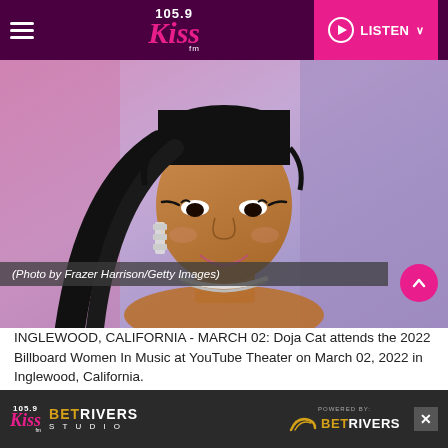105.9 Kiss FM — LISTEN
[Figure (photo): Portrait photo of Doja Cat at the 2022 Billboard Women In Music event, wearing diamond drop earrings and a diamond necklace, smiling, with long straight black hair pulled back, against a pink and purple background. Photo credit overlay reads: (Photo by Frazer Harrison/Getty Images)]
INGLEWOOD, CALIFORNIA - MARCH 02: Doja Cat attends the 2022 Billboard Women In Music at YouTube Theater on March 02, 2022 in Inglewood, California.
[Figure (logo): 105.9 Kiss FM BetRivers Studio advertisement banner — 'BETRIVERS STUDIO' text with 'POWERED BY: BETRIVERS' logo on dark background]